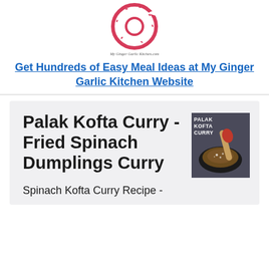[Figure (logo): My Ginger Garlic Kitchen donut-shaped logo with pink/red colors and cursive text]
Get Hundreds of Easy Meal Ideas at My Ginger Garlic Kitchen Website
[Figure (photo): Book cover showing 'PALAK KOFTA CURRY' text with a dark bowl of curry and a wooden spoon]
Palak Kofta Curry - Fried Spinach Dumplings Curry
Spinach Kofta Curry Recipe -